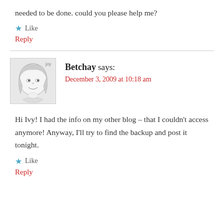needed to be done. could you please help me?
★ Like
Reply
Betchay says: December 3, 2009 at 10:18 am
Hi Ivy! I had the info on my other blog – that I couldn't access anymore! Anyway, I'll try to find the backup and post it tonight.
★ Like
Reply